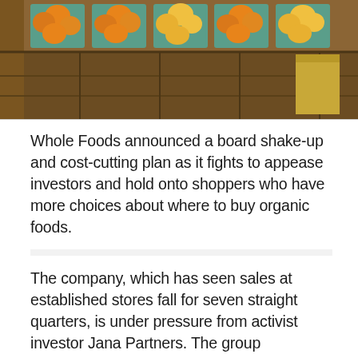[Figure (photo): Photo of orange/yellow produce in teal/green berry baskets arranged in wooden crates at a market or store display]
Whole Foods announced a board shake-up and cost-cutting plan as it fights to appease investors and hold onto shoppers who have more choices about where to buy organic foods.
[Figure (other): Advertisement placeholder box (light gray background)]
The company, which has seen sales at established stores fall for seven straight quarters, is under pressure from activist investor Jana Partners. The group disclosed its stake in the chain last month and pushed for a shake-up of the senior management, among other changes.